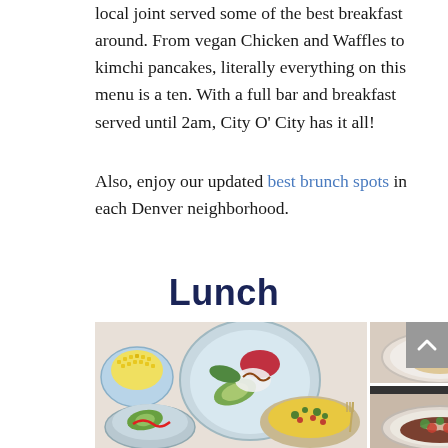local joint served some of the best breakfast around. From vegan Chicken and Waffles to kimchi pancakes, literally everything on this menu is a ten. With a full bar and breakfast served until 2am, City O' City has it all!
Also, enjoy our updated best brunch spots in each Denver neighborhood.
Lunch
[Figure (photo): Photo of colorful food bowls including a Buddha bowl with avocado, vegetables, and toppings, and a side bowl of corn, arranged on a white surface]
[Figure (photo): Photo of a plate with shrimp, vegetables, and other food items in a bowl or plate]
[Figure (photo): Photo of a plate with food items including what appears to be beans or a stew dish with toppings]